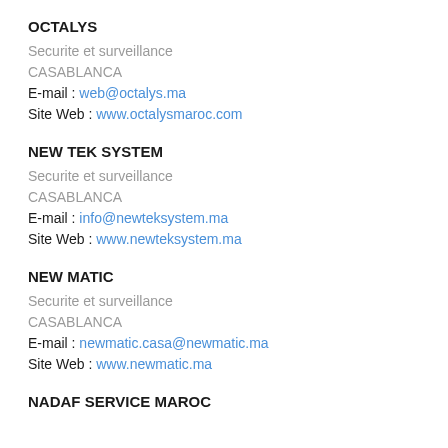OCTALYS
Securite et surveillance
CASABLANCA
E-mail : web@octalys.ma
Site Web : www.octalysmaroc.com
NEW TEK SYSTEM
Securite et surveillance
CASABLANCA
E-mail : info@newteksystem.ma
Site Web : www.newteksystem.ma
NEW MATIC
Securite et surveillance
CASABLANCA
E-mail : newmatic.casa@newmatic.ma
Site Web : www.newmatic.ma
NADAF SERVICE MAROC